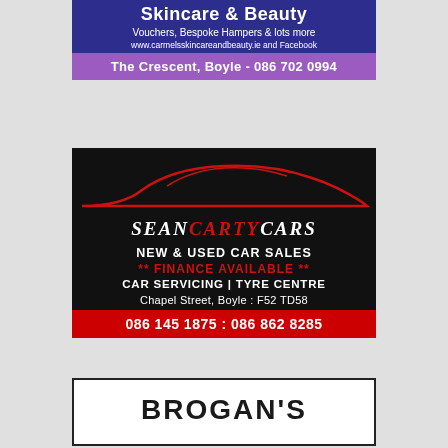[Figure (infographic): Carmel's Skincare & Beauty advertisement with purple/navy background. Shows business name, tagline 'Vouchers, Bespoke Hampers & lots more', website 'www.carmelsskincareandbeauty.ie and Facebook', and address 'The Crescent, Boyle - 086 702 0994'.]
[Figure (infographic): Sean Carty Cars advertisement with black background and red car silhouette. Shows business name 'SeanCartyCars', services 'NEW & USED CAR SALES', '** FINANCE AVAILABLE **', 'CAR SERVICING | TYRE CENTRE', address 'Chapel Street, Boyle : F52 TD58', phone numbers '086 145 1875 : 086 862 8285' on red bar.]
[Figure (infographic): Brogan's advertisement partial view showing 'BROGAN'S' text in large bold letters, white background with dark border.]